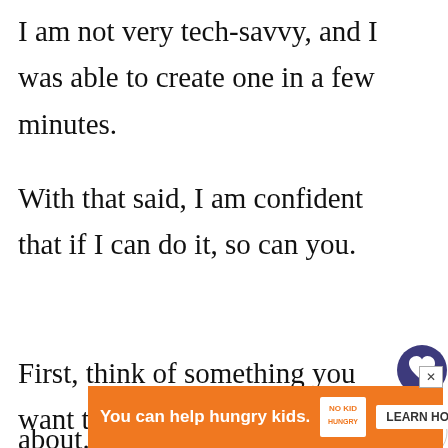I am not very tech-savvy, and I was able to create one in a few minutes.
With that said, I am confident that if I can do it, so can you.
First, think of something you want to blog about.
You can literally blog about anything.
[Figure (screenshot): UI overlay showing a dark purple heart/like button circle and a share button circle with a count label of 2]
[Figure (screenshot): What's Next widget with thumbnail image and text: WHAT'S NEXT → How to Make Money with...]
[Figure (screenshot): Orange advertisement bar at bottom reading: You can help hungry kids. NO KID HUNGRY logo. LEARN HOW button. X close button.]